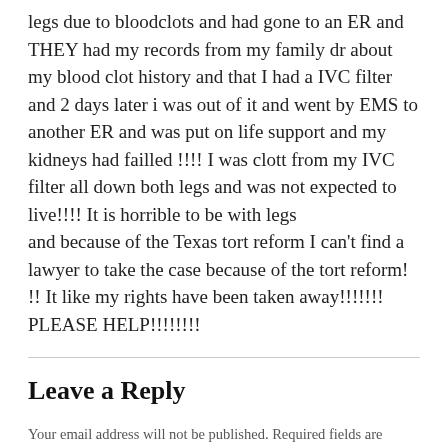legs due to bloodclots and had gone to an ER and THEY had my records from my family dr about my blood clot history and that I had a IVC filter and 2 days later i was out of it and went by EMS to another ER and was put on life support and my kidneys had failled !!!! I was clott from my IVC filter all down both legs and was not expected to live!!!! It is horrible to be with legs and because of the Texas tort reform I can't find a lawyer to take the case because of the tort reform! !! It like my rights have been taken away!!!!!!! PLEASE HELP!!!!!!!!
Leave a Reply
Your email address will not be published. Required fields are marked *
COMMENT *